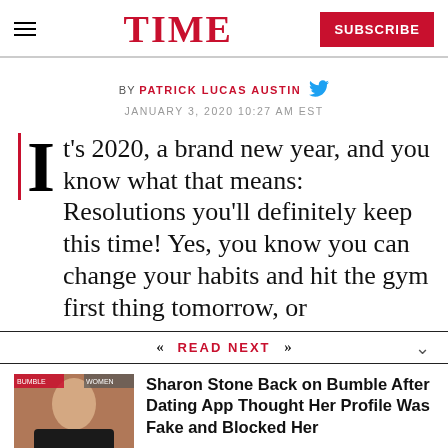TIME | SUBSCRIBE
BY PATRICK LUCAS AUSTIN
JANUARY 3, 2020 10:27 AM EST
It's 2020, a brand new year, and you know what that means: Resolutions you'll definitely keep this time! Yes, you know you can change your habits and hit the gym first thing tomorrow, or
READ NEXT
[Figure (photo): Photo of Sharon Stone at an event, wearing a black outfit]
Sharon Stone Back on Bumble After Dating App Thought Her Profile Was Fake and Blocked Her